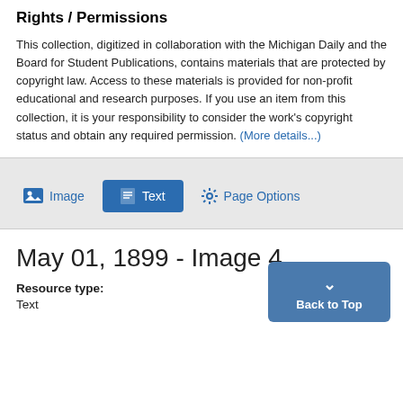Rights / Permissions
This collection, digitized in collaboration with the Michigan Daily and the Board for Student Publications, contains materials that are protected by copyright law. Access to these materials is provided for non-profit educational and research purposes. If you use an item from this collection, it is your responsibility to consider the work's copyright status and obtain any required permission. (More details...)
[Figure (screenshot): Navigation toolbar with three buttons: Image, Text (active/highlighted in blue), and Page Options with gear icon]
May 01, 1899 - Image 4
Resource type:
Text